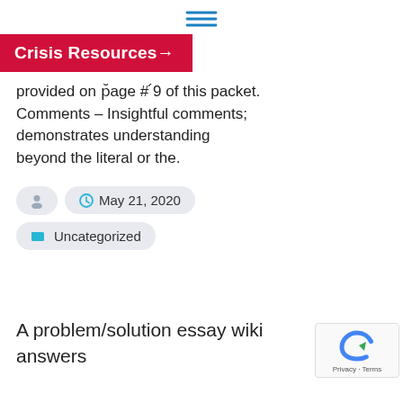≡ (menu icon)
Crisis Resources →
provided on p̆age # ́9 of this packet. Comments – Insightful comments; demonstrates understanding beyond the literal or the.
May 21, 2020
Uncategorized
A problem/solution essay wiki answers